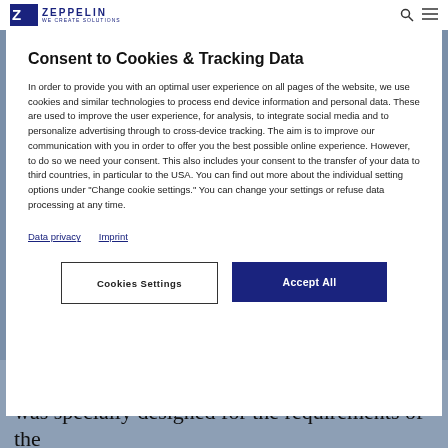ZEPPELIN — WE CREATE SOLUTIONS
Consent to Cookies & Tracking Data
In order to provide you with an optimal user experience on all pages of the website, we use cookies and similar technologies to process end device information and personal data. These are used to improve the user experience, for analysis, to integrate social media and to personalize advertising through to cross-device tracking. The aim is to improve our communication with you in order to offer you the best possible online experience. However, to do so we need your consent. This also includes your consent to the transfer of your data to third countries, in particular to the USA. You can find out more about the individual setting options under "Change cookie settings." You can change your settings or refuse data processing at any time.
Data privacy
Imprint
Cookies Settings | Accept All
The Food Technology Centre in Rödermark was specially designed for the requirements of the